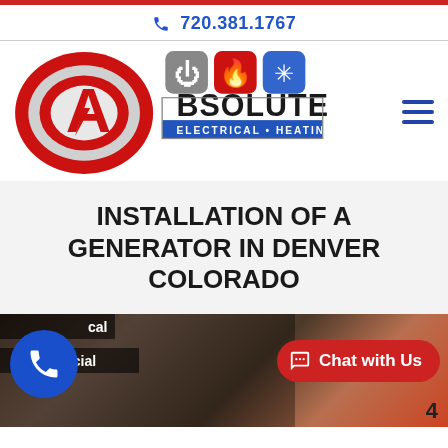720.381.1767
[Figure (logo): Absolute Electrical Heating Air company logo with red circular A icon and three service icons (electrical plug, flame, snowflake) above the word BSOLUTE and subtitle ELECTRICAL • HEATING • AIR]
INSTALLATION OF A GENERATOR IN DENVER COLORADO
[Figure (photo): Bottom section showing a blue circular call button, category labels (Residential, Commercial), a photo of a technician working, a red Chat with Us button, and page number 4]